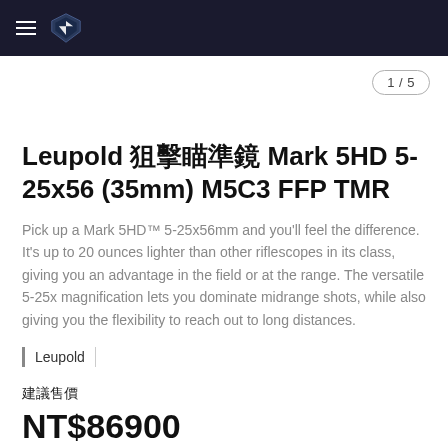Leupold logo and navigation bar
1 / 5
Leupold 狙擊瞄準鏡 Mark 5HD 5-25x56 (35mm) M5C3 FFP TMR
Pick up a Mark 5HD™ 5-25x56mm and you'll feel the difference. It's up to 20 ounces lighter than other riflescopes in its class, giving you an advantage in the field or at the range. The versatile 5-25x magnification lets you dominate midrange shots, while also giving you the flexibility to reach out to long distances.
Leupold
建議售價
NT$86900